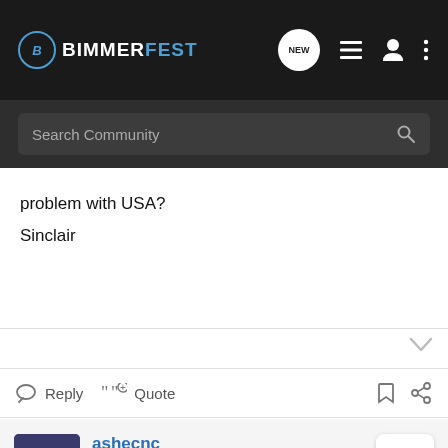BIMMERFEST
problem with USA?
Sinclair
Reply   Quote
ashecnc · Formerly CCs328Ci
Joined Dec 20, 2001 · 1,460 Posts
Discussion Starter · #8 · May 30, 2002